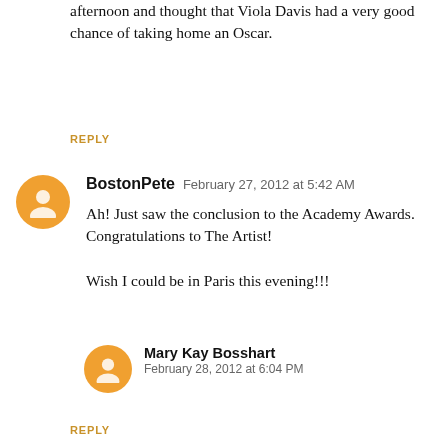afternoon and thought that Viola Davis had a very good chance of taking home an Oscar.
REPLY
BostonPete  February 27, 2012 at 5:42 AM
Ah! Just saw the conclusion to the Academy Awards. Congratulations to The Artist!

Wish I could be in Paris this evening!!!
Mary Kay Bosshart
February 28, 2012 at 6:04 PM
I don't know about Sunday night, but there were lots of happy people on Monday morning! The Twitter feed was full of excited Tweets about The Artist's big evening.
REPLY